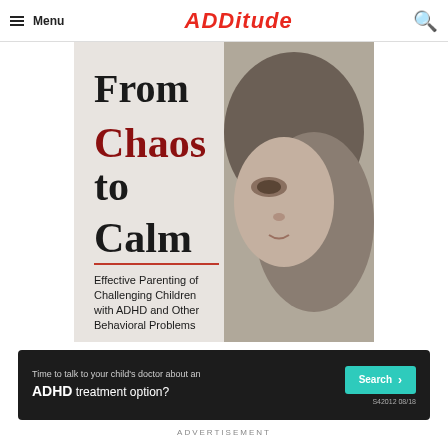Menu | ADDITUDE
[Figure (illustration): Book cover of 'From Chaos to Calm: Effective Parenting of Challenging Children with ADHD and Other Behavioral Problems'. Shows a black and white close-up photo of a young child's face in profile. Title text 'From Chaos to Calm' is in large bold font, with 'Chaos' in dark red/maroon. Subtitle below reads 'Effective Parenting of Challenging Children with ADHD and Other Behavioral Problems'.]
[Figure (infographic): Advertisement banner: 'Time to talk to your child's doctor about an ADHD treatment option?' with a teal Search button and code S42012 08/18]
ADVERTISEMENT